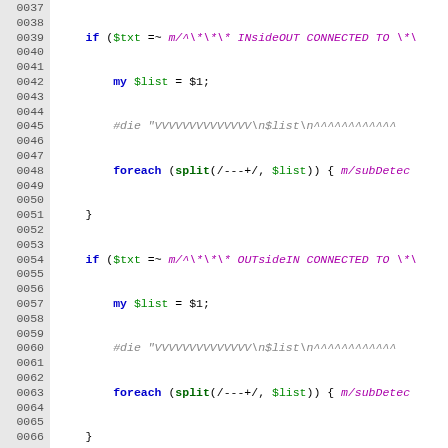[Figure (screenshot): Perl source code with syntax highlighting, lines 0037–0066, showing regex matching, layer parsing, and graphviz output generation]